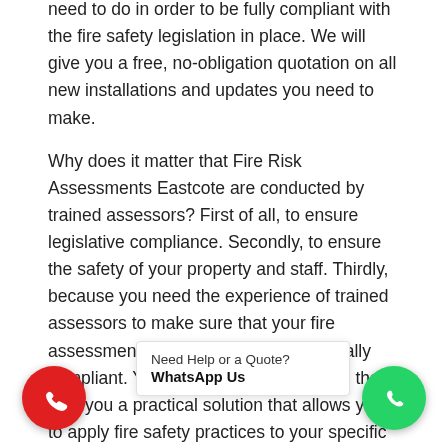need to do in order to be fully compliant with the fire safety legislation in place. We will give you a free, no-obligation quotation on all new installations and updates you need to make.
Why does it matter that Fire Risk Assessments Eastcote are conducted by trained assessors? First of all, to ensure legislative compliance. Secondly, to ensure the safety of your property and staff. Thirdly, because you need the experience of trained assessors to make sure that your fire assessments are practical, not just legally compliant. You need fire risk assessors that give you a practical solution that allows you to apply fire safety practices to your specific business. Our company has conducted fire risk assessments for a full range of premises, including but not limited to offices, hotels, new buildings, flats, or sleeping accommodations. Fire Risk Assessments Eastcote can do more than just advise you on the remedial actions required to
[Figure (other): Green WhatsApp floating button with white WhatsApp logo icon, bottom right corner]
[Figure (other): Red phone floating button with white phone icon, bottom left corner]
Need Help or a Quote? WhatsApp Us